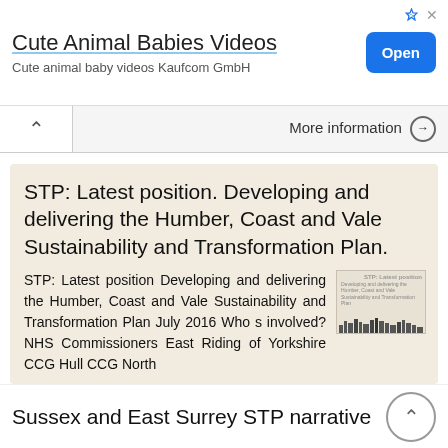[Figure (screenshot): Advertisement banner: 'Cute Animal Babies Videos' with Open button. Subtitle: 'Cute animal baby videos Kaufcom GmbH']
More information →
STP: Latest position. Developing and delivering the Humber, Coast and Vale Sustainability and Transformation Plan.
STP: Latest position Developing and delivering the Humber, Coast and Vale Sustainability and Transformation Plan July 2016 Who s involved? NHS Commissioners East Riding of Yorkshire CCG Hull CCG North
More information →
Sussex and East Surrey STP narrative